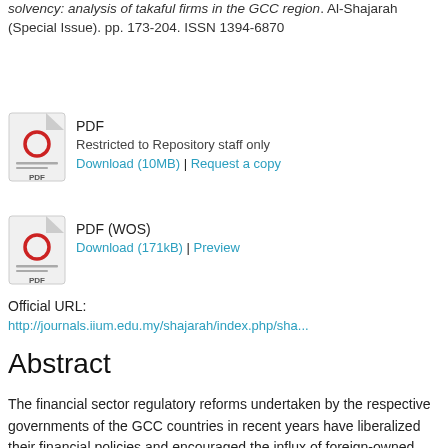solvency: analysis of takaful firms in the GCC region. Al-Shajarah (Special Issue). pp. 173-204. ISSN 1394-6870
PDF
Restricted to Repository staff only
Download (10MB) | Request a copy
PDF (WOS)
Download (171kB) | Preview
Official URL:
http://journals.iium.edu.my/shajarah/index.php/sha...
Abstract
The financial sector regulatory reforms undertaken by the respective governments of the GCC countries in recent years have liberalized their financial policies and encouraged the influx of foreign-owned firms participating in the Takaful market. This development among others has created a competitive environment for continuous growth and impressive performance of the sector. This paper attempts to